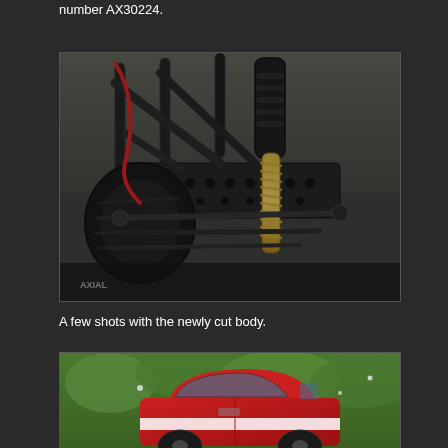number AX30224.
[Figure (photo): Close-up photo of RC car chassis showing suspension components, shock absorber with gold spring, linkages, and black metal parts on pavement background.]
A few shots with the newly cut body.
[Figure (photo): RC car with red and white body shell shown outdoors with green foliage in background.]